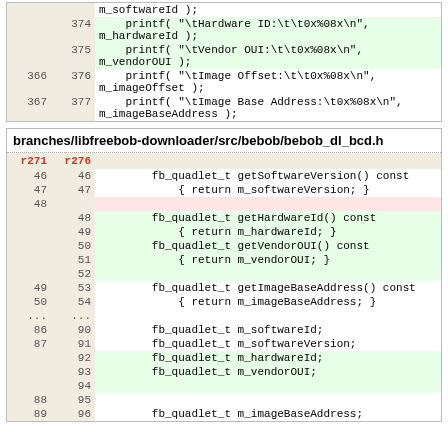| old | new | code |
| --- | --- | --- |
|  |  | m_softwareId ); |
|  | 374 |     printf( "\tHardware ID:\t\t0x%08x\n", m_hardwareId ); |
|  | 375 |     printf( "\tVendor OUI:\t\t0x%08x\n", m_vendorOUI ); |
| 366 | 376 |     printf( "\tImage Offset:\t\t0x%08x\n", m_imageOffset ); |
| 367 | 377 |     printf( "\tImage Base Address:\t0x%08x\n", m_imageBaseAddress ); |
branches/libfreebob-downloader/src/bebob/bebob_dl_bcd.h
| r271 | r276 | code |
| --- | --- | --- |
| 46 | 46 |         fb_quadlet_t getSoftwareVersion() const |
| 47 | 47 |             { return m_softwareVersion; } |
| 48 |  |  |
|  | 48 |         fb_quadlet_t getHardwareId() const |
|  | 49 |             { return m_hardwareId; } |
|  | 50 |         fb_quadlet_t getVendorOUI() const |
|  | 51 |             { return m_vendorOUI; } |
|  | 52 |  |
| 49 | 53 |         fb_quadlet_t getImageBaseAddress() const |
| 50 | 54 |             { return m_imageBaseAddress; } |
| ... | ... |  |
| 86 | 90 |         fb_quadlet_t m_softwareId; |
| 87 | 91 |         fb_quadlet_t m_softwareVersion; |
|  | 92 |         fb_quadlet_t m_hardwareId; |
|  | 93 |         fb_quadlet_t m_vendorOUI; |
|  | 94 |  |
| 88 | 95 |  |
| 89 | 96 |         fb_quadlet_t m_imageBaseAddress; |